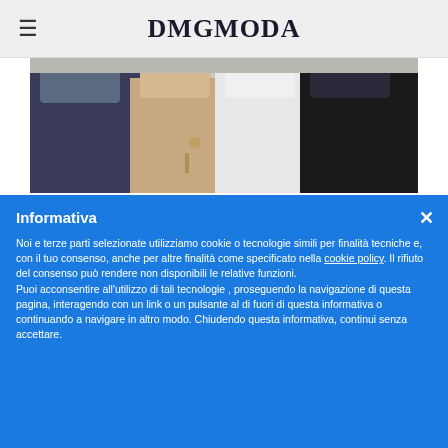DMGMODA
[Figure (photo): Cropped photo showing people at a fashion event, partial view of bodies with black and white clothing]
Informativa
Noi e terze parti selezionate utilizziamo cookie o tecnologie simili per finalità tecniche e, con il tuo consenso, anche per altre finalità come specificato nella cookie policy. Il rifiuto del consenso può rendere non disponibili le relative funzioni.
Puoi acconsentire all'utilizzo di tali tecnologie , proseguendo la navigazione di questa pagina, interagendo con un link o un pulsante al di fuori di questa informativa o continuando a navigare in altro modo. Chiudendo questa informativa, continui senza accettare.